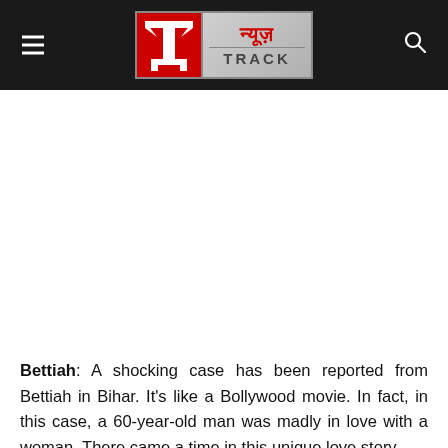[Figure (logo): News Track logo — red square with Hindi letter ट and gray box with न्यूज़ TRACK text]
Bettiah: A shocking case has been reported from Bettiah in Bihar. It's like a Bollywood movie. In fact, in this case, a 60-year-old man was madly in love with a woman. There came a time in this unique love story